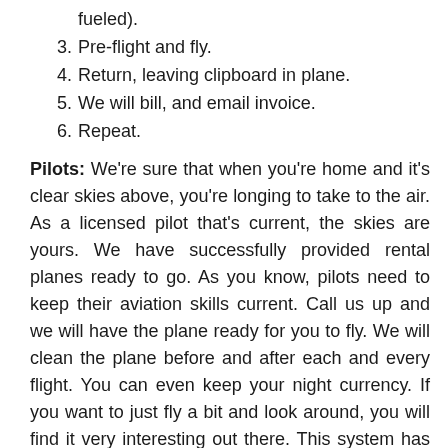fueled).
3. Pre-flight and fly.
4. Return, leaving clipboard in plane.
5. We will bill, and email invoice.
6. Repeat.
Pilots: We're sure that when you're home and it's clear skies above, you're longing to take to the air. As a licensed pilot that's current, the skies are yours. We have successfully provided rental planes ready to go. As you know, pilots need to keep their aviation skills current. Call us up and we will have the plane ready for you to fly. We will clean the plane before and after each and every flight. You can even keep your night currency. If you want to just fly a bit and look around, you will find it very interesting out there. This system has been working.
OFFICE HOURS WITH JEFF SLUTSKY:
Thursday, 2:00 pm